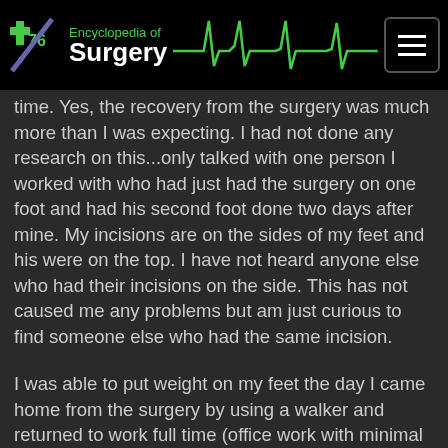Encyclopedia of Surgery
time. Yes, the recovery from the surgery was much more than I was expecting. I had not done any research on this...only talked with one person I worked with who had just had the surgery on one foot and had his second foot done two days after mine. My incisions are on the sides of my feet and his were on the top. I have not heard anyone else who had their incisions on the side. This has not caused me any problems but am just curious to find someone else who had the same incision.
I was able to put weight on my feet the day I came home from the surgery by using a walker and returned to work full time (office work with minimal to moderate walking)5 days after surgery.
The main problem I am having now is finding shoes that fit and that are comfortable. The doc inserted a screw in each big toe that will disintegrate in time making my big toes not very mobile right now. I also have a problem with flat feet which need arch support. I bought some expensive shoes recommended by someone who sells orthopoedic shoes, but after wearing them a few hours, they are just too confining across the top of my feet.